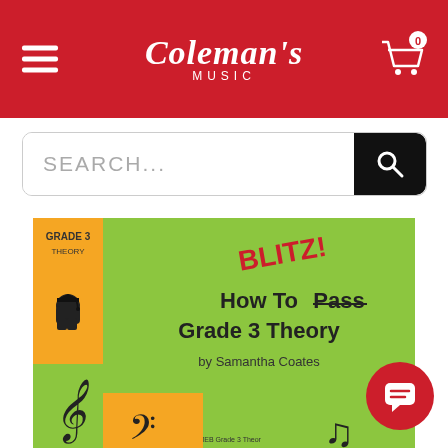Coleman's Music
[Figure (screenshot): Coleman's Music website screenshot showing a product page for 'How To Blitz! Grade 3 Theory' by Samantha Coates. Red header with hamburger menu, Coleman's Music logo, and cart icon (0 items). Search bar below header. Book cover shown: green and orange checkered design with Grade 3 Theory label, 'How To Blitz! Grade 3 Theory by Samantha Coates' text, cartoon music note characters, and TB logo. Chat button in bottom right corner.]